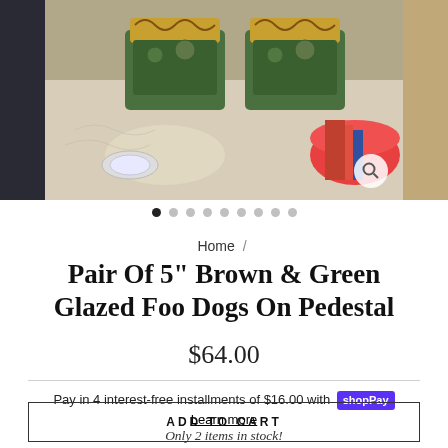[Figure (photo): Product image carousel showing glazed ceramic Foo Dogs on pedestal, brownish-green glaze with decorative scrollwork, displayed on a table with other items visible. Left strip shows dark background, right strip shows tan/beige background. Magnify icon visible.]
Home /
Pair Of 5" Brown & Green Glazed Foo Dogs On Pedestal
$64.00
Pay in 4 interest-free installments of $16.00 with Shop Pay
Learn more
Only 2 items in stock!
ADD TO CART